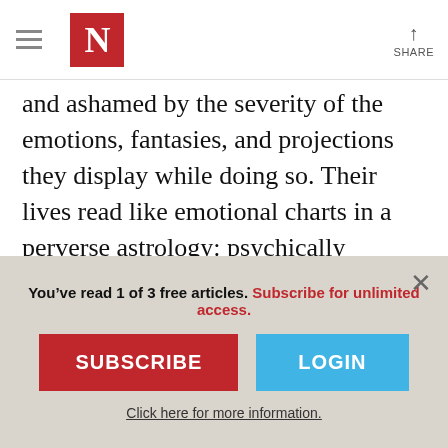N | SHARE
and ashamed by the severity of the emotions, fantasies, and projections they display while doing so. Their lives read like emotional charts in a perverse astrology: psychically charged scenes filled with misplaced manners, instincts, and impulses.

Plot, especially in Lispector's “First Stories,” is
You’ve read 1 of 3 free articles. Subscribe for unlimited access.
SUBSCRIBE
LOGIN
Click here for more information.